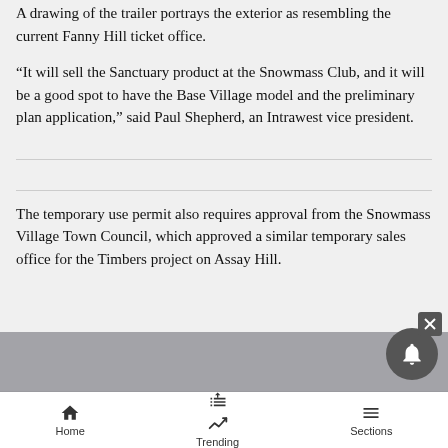A drawing of the trailer portrays the exterior as resembling the current Fanny Hill ticket office.
“It will sell the Sanctuary product at the Snowmass Club, and it will be a good spot to have the Base Village model and the preliminary plan application,” said Paul Shepherd, an Intrawest vice president.
The temporary use permit also requires approval from the Snowmass Village Town Council, which approved a similar temporary sales office for the Timbers project on Assay Hill.
Home   Trending   Sections